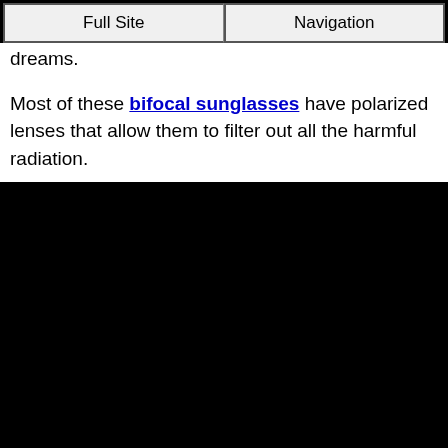Full Site | Navigation
dreams.
Most of these bifocal sunglasses have polarized lenses that allow them to filter out all the harmful radiation.